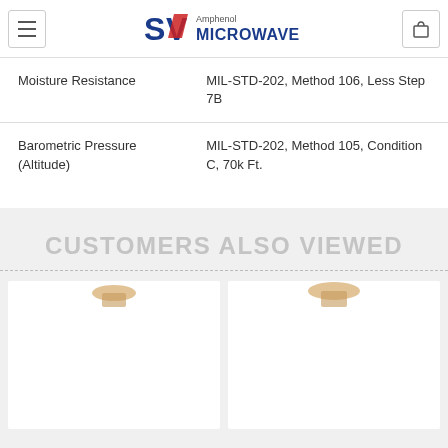SV Microwave Amphenol
| Property | Value |
| --- | --- |
| Moisture Resistance | MIL-STD-202, Method 106, Less Step 7B |
| Barometric Pressure (Altitude) | MIL-STD-202, Method 105, Condition C, 70k Ft. |
CUSTOMERS ALSO VIEWED
[Figure (photo): Product image card 1 - connector component partially visible at top]
[Figure (photo): Product image card 2 - connector component partially visible at top]